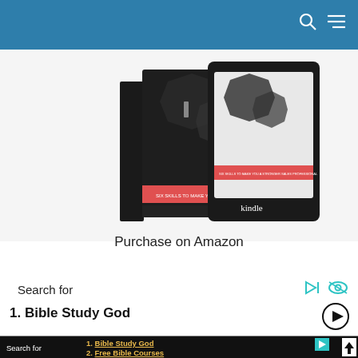[Figure (photo): Book and Kindle device showing a sales professional book cover with dark hexagonal shapes and a red banner]
Purchase on Amazon
Search for
1.  Bible Study God
Search for
1.  Bible Study God
2.  Free Bible Courses